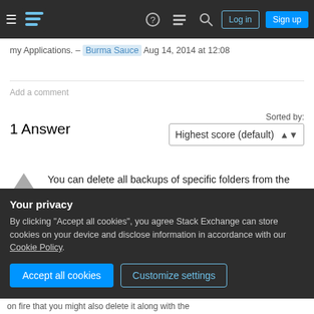Stack Exchange navigation bar with hamburger menu, logo, help, chat, search icons, Log in and Sign up buttons
my Applications. – Burma Sauce Aug 14, 2014 at 12:08
Add a comment
1 Answer
Sorted by: Highest score (default)
You can delete all backups of specific folders from the Time Machine interface.
Enter Time Machine (from the Time Machine
Your privacy
By clicking "Accept all cookies", you agree Stack Exchange can store cookies on your device and disclose information in accordance with our Cookie Policy.
Accept all cookies  Customize settings